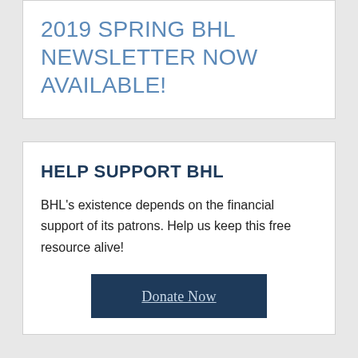2019 SPRING BHL NEWSLETTER NOW AVAILABLE!
HELP SUPPORT BHL
BHL's existence depends on the financial support of its patrons. Help us keep this free resource alive!
Donate Now